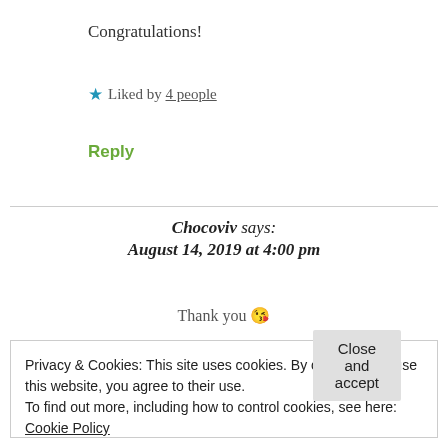Congratulations!
★ Liked by 4 people
Reply
Chocoviv says: August 14, 2019 at 4:00 pm
Thank you 😚
Privacy & Cookies: This site uses cookies. By continuing to use this website, you agree to their use.
To find out more, including how to control cookies, see here: Cookie Policy
Close and accept